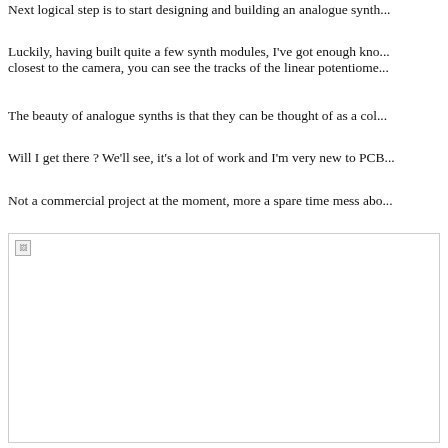Next logical step is to start designing and building an analogue synth...
Luckily, having built quite a few synth modules, I've got enough kno... closest to the camera, you can see the tracks of the linear potentiome...
The beauty of analogue synths is that they can be thought of as a col...
Will I get there ? We'll see, it's a lot of work and I'm very new to PCB...
Not a commercial project at the moment, more a spare time mess abo...
[Figure (photo): A photo (broken/missing image placeholder) showing a synth module related image.]